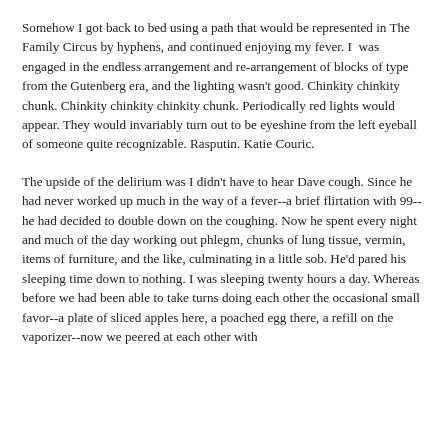Somehow I got back to bed using a path that would be represented in The Family Circus by hyphens, and continued enjoying my fever. I  was engaged in the endless arrangement and re-arrangement of blocks of type from the Gutenberg era, and the lighting wasn't good. Chinkity chinkity chunk. Chinkity chinkity chinkity chunk. Periodically red lights would appear. They would invariably turn out to be eyeshine from the left eyeball of someone quite recognizable. Rasputin. Katie Couric.
The upside of the delirium was I didn't have to hear Dave cough. Since he had never worked up much in the way of a fever--a brief flirtation with 99--he had decided to double down on the coughing. Now he spent every night and much of the day working out phlegm, chunks of lung tissue, vermin, items of furniture, and the like, culminating in a little sob. He'd pared his sleeping time down to nothing. I was sleeping twenty hours a day. Whereas before we had been able to take turns doing each other the occasional small favor--a plate of sliced apples here, a poached egg there, a refill on the vaporizer--now we peered at each other with